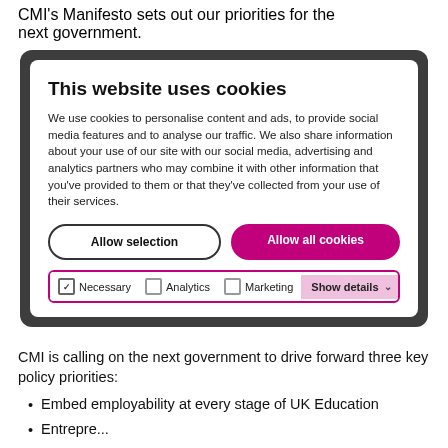CMI's Manifesto sets out our priorities for the next government.
[Figure (screenshot): Cookie consent modal dialog on a dark rounded background. Title: 'This website uses cookies'. Body text about cookie usage. Two buttons: 'Allow selection' (outline) and 'Allow all cookies' (pink/magenta). Checkbox row with Necessary (checked), Analytics, Marketing, and Show details button.]
CMI is calling on the next government to drive forward three key policy priorities:
Embed employability at every stage of UK Education
Entrepre... (text cut off)